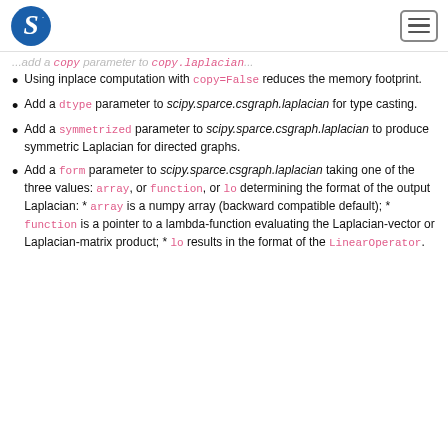Scipy logo and navigation menu
...add a copy parameter to copy.laplacian... (truncated)
Using inplace computation with copy=False reduces the memory footprint.
Add a dtype parameter to scipy.sparce.csgraph.laplacian for type casting.
Add a symmetrized parameter to scipy.sparce.csgraph.laplacian to produce symmetric Laplacian for directed graphs.
Add a form parameter to scipy.sparce.csgraph.laplacian taking one of the three values: array, or function, or lo determining the format of the output Laplacian: * array is a numpy array (backward compatible default); * function is a pointer to a lambda-function evaluating the Laplacian-vector or Laplacian-matrix product; * lo results in the format of the LinearOperator.